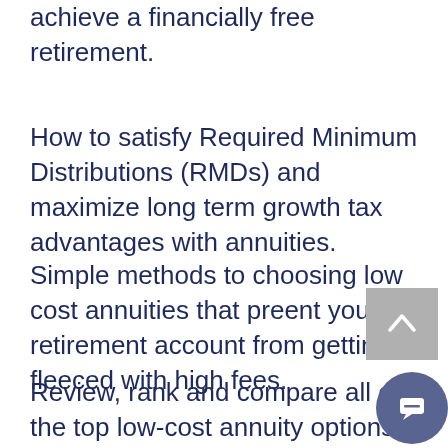achieve a financially free retirement.
How to satisfy Required Minimum Distributions (RMDs) and maximize long term growth tax advantages with annuities.
Simple methods to choosing low cost annuities that preent your retirement account from getting fleeced with high fees.
Review, rank and compare all of the top low-cost annuity options available in your state, based numerous factors such as our age,